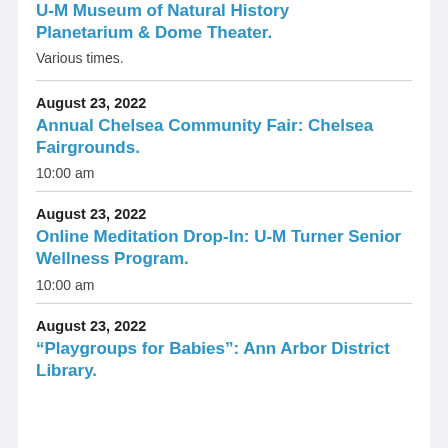U-M Museum of Natural History Planetarium & Dome Theater.
Various times.
August 23, 2022
Annual Chelsea Community Fair: Chelsea Fairgrounds.
10:00 am
August 23, 2022
Online Meditation Drop-In: U-M Turner Senior Wellness Program.
10:00 am
August 23, 2022
“Playgroups for Babies”: Ann Arbor District Library.